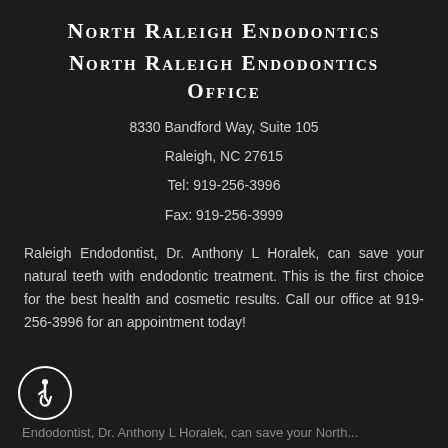North Raleigh Endodontics
North Raleigh Endodontics Office
8330 Bandford Way, Suite 105
Raleigh, NC 27615
Tel: 919-256-3996
Fax: 919-256-3999
Raleigh Endodontist, Dr. Anthony L Horalek, can save your natural teeth with endodontic treatment. This is the first choice for the best health and cosmetic results. Call our office at 919-256-3996 for an appointment today!
[Figure (illustration): Wheelchair accessibility icon in a white circle]
Endodontist, Dr. Anthony L Horalek, can save your North...